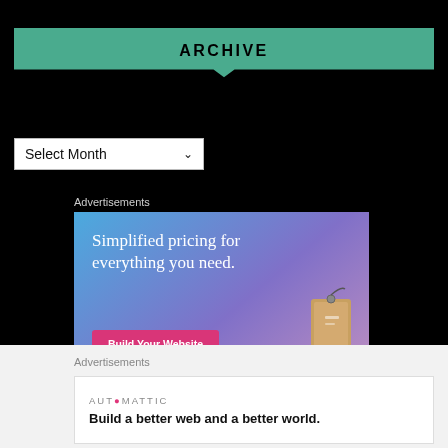ARCHIVE
Select Month
Advertisements
[Figure (infographic): Advertisement banner with gradient blue-purple background showing text 'Simplified pricing for everything you need.' with a pink 'Build Your Website' button and a price tag illustration on the right]
Advertisements
[Figure (infographic): Automattic advertisement: logo 'AUTOMATTIC' and text 'Build a better web and a better world.']